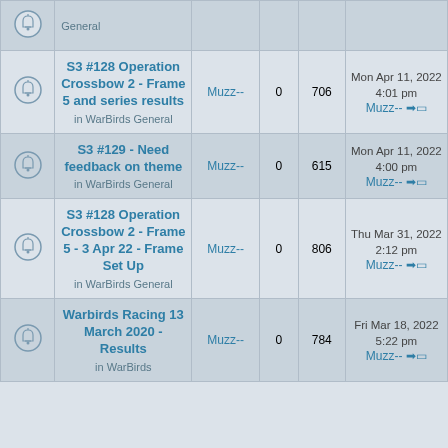|  | Topic | Author | Replies | Views | Last post |
| --- | --- | --- | --- | --- | --- |
| [bell] | General |  |  |  |  |
| [bell] | S3 #128 Operation Crossbow 2 - Frame 5 and series results
in WarBirds General | Muzz-- | 0 | 706 | Mon Apr 11, 2022 4:01 pm
Muzz-- |
| [bell] | S3 #129 - Need feedback on theme
in WarBirds General | Muzz-- | 0 | 615 | Mon Apr 11, 2022 4:00 pm
Muzz-- |
| [bell] | S3 #128 Operation Crossbow 2 - Frame 5 - 3 Apr 22 - Frame Set Up
in WarBirds General | Muzz-- | 0 | 806 | Thu Mar 31, 2022 2:12 pm
Muzz-- |
| [bell] | Warbirds Racing 13 March 2020 - Results
in WarBirds | Muzz-- | 0 | 784 | Fri Mar 18, 2022 5:22 pm
Muzz-- |